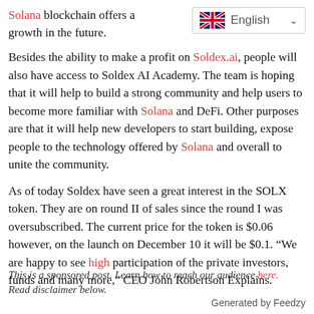Solana blockchain offers a growth in the future.
[Figure (other): English language selector UI widget with UK flag icon and dropdown chevron]
Besides the ability to make a profit on Soldex.ai, people will also have access to Soldex AI Academy. The team is hoping that it will help to build a strong community and help users to become more familiar with Solana and DeFi. Other purposes are that it will help new developers to start building, expose people to the technology offered by Solana and overall to unite the community.
As of today Soldex have seen a great interest in the SOLX token. They are on round II of sales since the round I was oversubscribed. The current price for the token is $0.06 however, on the launch on December 10 it will be $0.1. “We are happy to see high participation of the private investors, funds and many more,” CEO John Robertson Explains.
This is a sponsored post. Learn how to reach our audience here. Read disclaimer below.
Generated by Feedzy